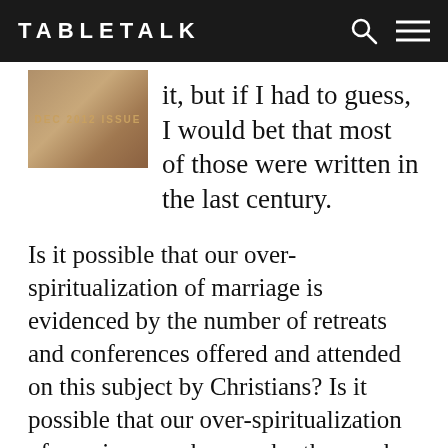TABLETALK
it, but if I had to guess, I would bet that most of those were written in the last century.
Is it possible that our over-spiritualization of marriage is evidenced by the number of retreats and conferences offered and attended on this subject by Christians? Is it possible that our over-spiritualization of marriage can be seen by the number of series on the topic that fill our pulpits?
Here’s the point. I wonder if we have made marriage more difficult than it really is. I wonder if this is why couples who come to me for premarital counseling are scared to death that they are not